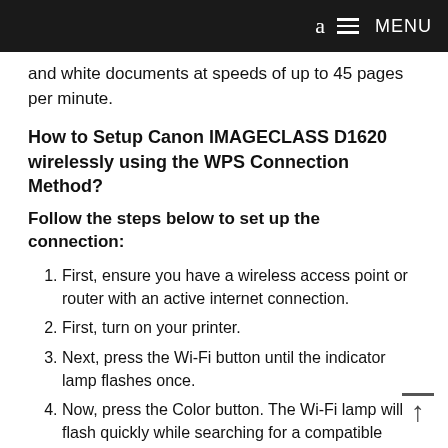a MENU
and white documents at speeds of up to 45 pages per minute.
How to Setup Canon IMAGECLASS D1620 wirelessly using the WPS Connection Method?
Follow the steps below to set up the connection:
First, ensure you have a wireless access point or router with an active internet connection.
First, turn on your printer.
Next, press the Wi-Fi button until the indicator lamp flashes once.
Now, press the Color button. The Wi-Fi lamp will flash quickly while searching for a compatible access point.